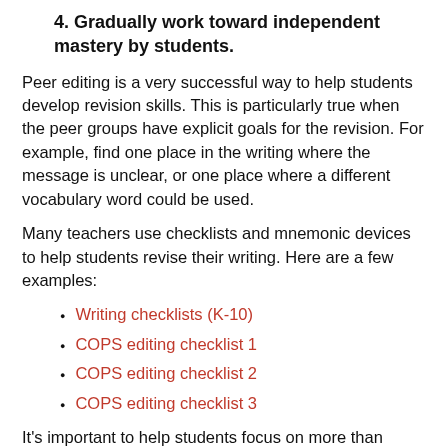4. Gradually work toward independent mastery by students.
Peer editing is a very successful way to help students develop revision skills. This is particularly true when the peer groups have explicit goals for the revision. For example, find one place in the writing where the message is unclear, or one place where a different vocabulary word could be used.
Many teachers use checklists and mnemonic devices to help students revise their writing. Here are a few examples:
Writing checklists (K-10)
COPS editing checklist 1
COPS editing checklist 2
COPS editing checklist 3
It's important to help students focus on more than sentence-level revisions. The 6 + 1 Trait writing program encourages a bigger-picture revision process through attention to ideas, organization, voice, word choice, and more. Their revision checklist includes